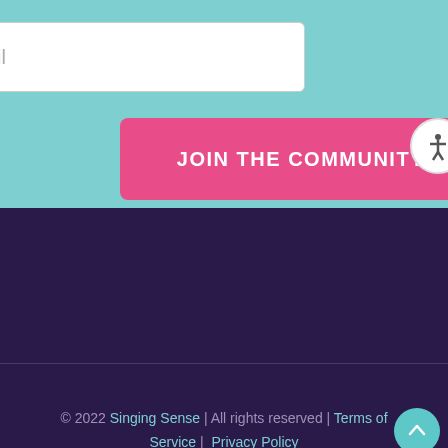[Figure (screenshot): Email input field on teal background]
JOIN THE COMMUNITY!
[Figure (other): Accessibility icon button (person in circle)]
[Figure (other): Dark purple background section (footer navigation area)]
© 2022 Singing Sense | All rights reserved | Terms of Service |  Privacy Policy